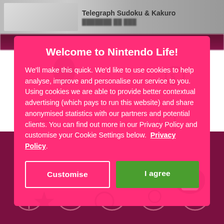Telegraph Sudoku & Kakuro
Welcome to Nintendo Life!
We'll make this quick. We'd like to use cookies to help analyse, improve and personalise our service to you. Using cookies we are able to provide better contextual advertising (which pays to run this website) and share anonymised statistics with our partners and potential clients. You can find out more in our Privacy Policy and customise your Cookie Settings below.  Privacy Policy.
Customise
I agree